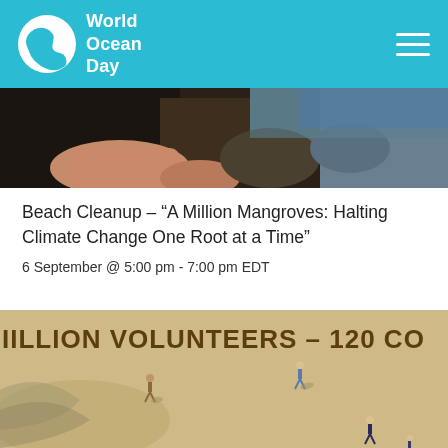World Ocean Day
[Figure (photo): Close-up photo of person's hands and legs near rocks at the beach]
Beach Cleanup – “A Million Mangroves: Halting Climate Change One Root at a Time”
6 September @ 5:00 pm - 7:00 pm EDT
[Figure (photo): Aerial view of volunteers on a beach with text overlay reading 'MILLION VOLUNTEERS – 120 CO']